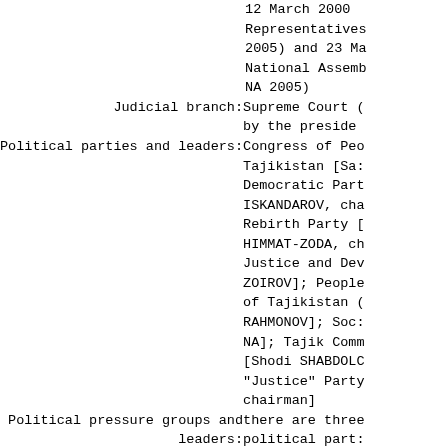12 March 2000 Representatives 2005) and 23 Ma National Assemk NA 2005)
Judicial branch: Supreme Court ( by the preside
Political parties and leaders: Congress of Pe( Tajikistan [Sa: Democratic Par( ISKANDAROV, ch Rebirth Party ( HIMMAT-ZODA, ch Justice and De( ZOIROV]; People of Tajikistan ( RAHMONOV]; Soc: NA]; Tajik Com [Shodi SHABDOL( "Justice" Party chairman]
Political pressure groups and leaders: there are three political part: members: Progr QUVVATOV]; Soc: [Rahmatullo ZOI [Hikmatuko SAID
International organization participation: AsDB, CCC, CIS, ECO, ESCAP, FAO ICRM, IDA, IDB,